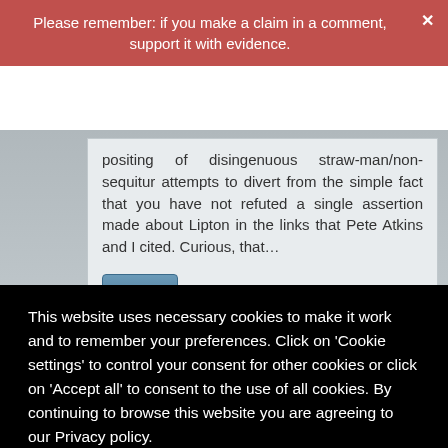Please remember: if you make a claim in a comment, support it with evidence.
positing of disingenuous straw-man/non-sequitur attempts to divert from the simple fact that you have not refuted a single assertion made about Lipton in the links that Pete Atkins and I cited. Curious, that…
Reply
A on Monday 15 February 2016 at 19:41
This website uses necessary cookies to make it work and to remember your preferences. Click on 'Cookie settings' to control your consent for other cookies or click on 'Accept all' to consent to the use of all cookies. By continuing to browse this website you are agreeing to our Privacy policy.
Accept all | Cookie settings | Privacy policy